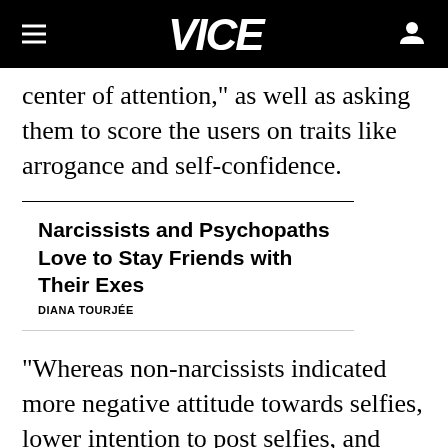VICE
center of attention," as well as asking them to score the users on traits like arrogance and self-confidence.
Narcissists and Psychopaths Love to Stay Friends with Their Exes
DIANA TOURJÉE
“Whereas non-narcissists indicated more negative attitude towards selfies, lower intention to post selfies, and lower intention to